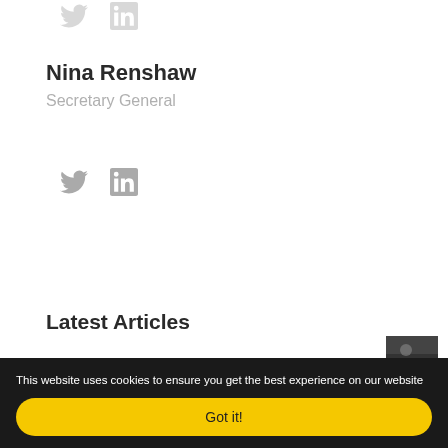Nina Renshaw
Secretary General
[Figure (other): Twitter and LinkedIn social media icons]
Latest Articles
[Figure (photo): Small thumbnail image for an article]
This website uses cookies to ensure you get the best experience on our website
Got it!